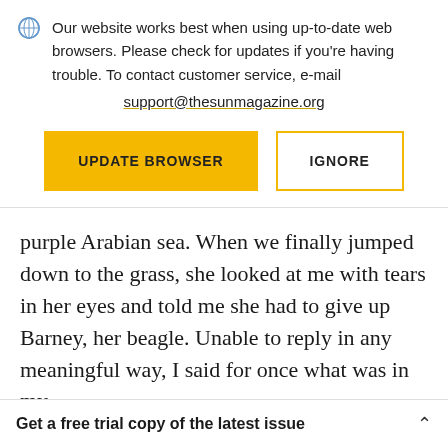Our website works best when using up-to-date web browsers. Please check for updates if you're having trouble. To contact customer service, e-mail support@thesunmagazine.org
[Figure (other): Two buttons: 'UPDATE BROWSER' (yellow filled) and 'IGNORE' (yellow outlined)]
purple Arabian sea. When we finally jumped down to the grass, she looked at me with tears in her eyes and told me she had to give up Barney, her beagle. Unable to reply in any meaningful way, I said for once what was in my
Get a free trial copy of the latest issue